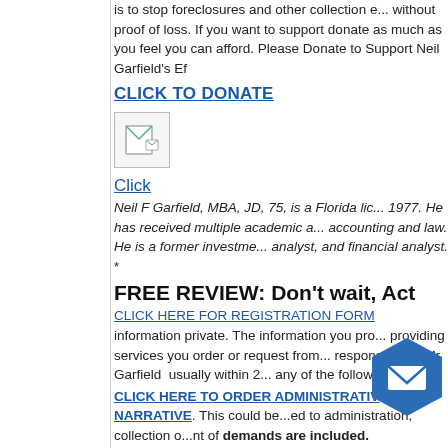is to stop foreclosures and other collection e... without proof of loss. If you want to support donate as much as you feel you can afford. Please Donate to Support Neil Garfield's Ef
CLICK TO DONATE
[Figure (illustration): Small broken/placeholder image icon]
Click
Neil F Garfield, MBA, JD, 75, is a Florida lic... 1977. He has received multiple academic a... accounting and law. He is a former investme... analyst, and financial analyst.
*
FREE REVIEW: Don't wait, Act
CLICK HERE FOR REGISTRATION FORM
information private. The information you pro... providing services you order or request from... response from Mr. Garfield usually within 2... any of the following:
CLICK HERE TO ORDER ADMINISTRATIV... NARRATIVE. This could be...ed to administration, collection o...nt of demands are included.
*
[Figure (illustration): Blue hexagonal email/envelope icon in bottom right]